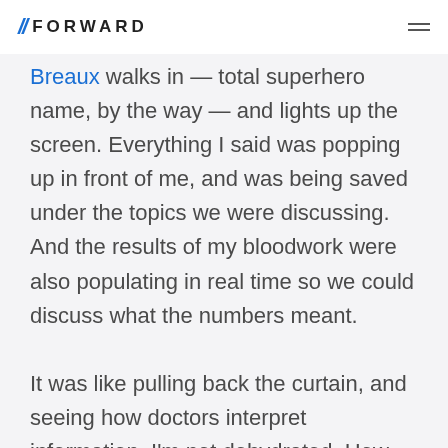// FORWARD
Breaux walks in — total superhero name, by the way — and lights up the screen. Everything I said was popping up in front of me, and was being saved under the topics we were discussing. And the results of my bloodwork were also populating in real time so we could discuss what the numbers meant.
It was like pulling back the curtain, and seeing how doctors interpret information. I'm not dehydrated. How do I know? Because my electrolyte